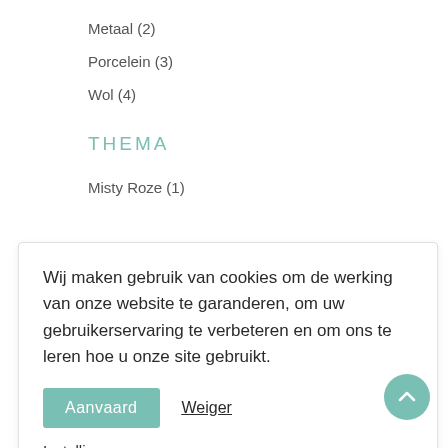Metaal (2)
Porcelein (3)
Wol (4)
THEMA
Misty Roze (1)
Wij maken gebruik van cookies om de werking van onze website te garanderen, om uw gebruikerservaring te verbeteren en om ons te leren hoe u onze site gebruikt.
Aanvaard | Weiger | Instellingen
Groen (18)